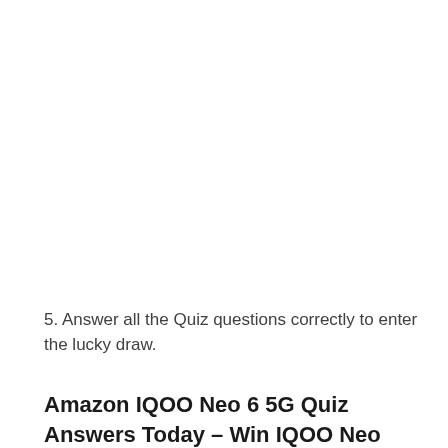5. Answer all the Quiz questions correctly to enter the lucky draw.
Amazon IQOO Neo 6 5G Quiz Answers Today – Win IQOO Neo